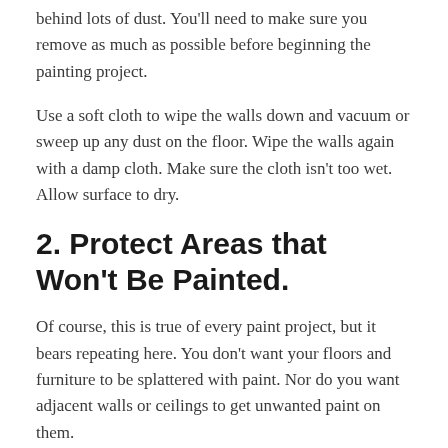behind lots of dust. You'll need to make sure you remove as much as possible before beginning the painting project.
Use a soft cloth to wipe the walls down and vacuum or sweep up any dust on the floor. Wipe the walls again with a damp cloth. Make sure the cloth isn't too wet. Allow surface to dry.
2. Protect Areas that Won't Be Painted.
Of course, this is true of every paint project, but it bears repeating here. You don't want your floors and furniture to be splattered with paint. Nor do you want adjacent walls or ceilings to get unwanted paint on them.
Use painter's tape along the edges of all bordering trim, baseboards, walls, and ceilings that won't be painted.